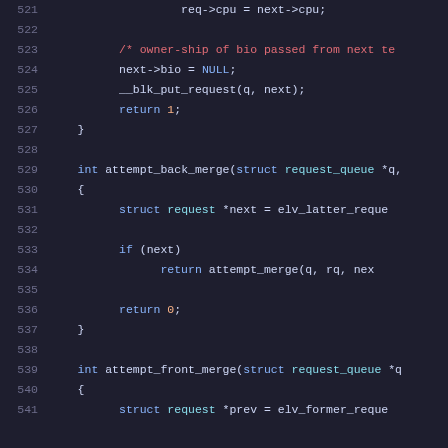[Figure (screenshot): Source code snippet in a dark-themed code editor showing C code lines 521-541, including req->cpu assignment, a comment about bio ownership, next->bio = NULL, __blk_put_request call, return 1, closing brace, attempt_back_merge function definition, attempt_front_merge function definition beginning.]